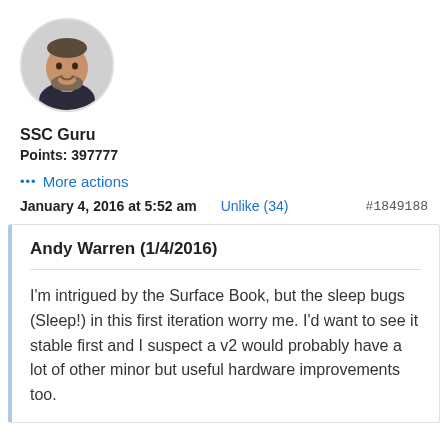[Figure (photo): Circular profile photo of a middle-aged man with a beard, smiling, wearing a dark suit jacket]
SSC Guru
Points: 397777
... More actions
January 4, 2016 at 5:52 am    Unlike (34)    #1849188
Andy Warren (1/4/2016)
I'm intrigued by the Surface Book, but the sleep bugs (Sleep!) in this first iteration worry me. I'd want to see it stable first and I suspect a v2 would probably have a lot of other minor but useful hardware improvements too.